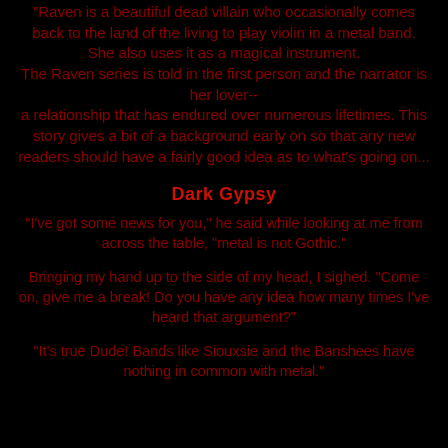"Raven is a beautiful dead villain who occasionally comes back to the land of the living to play violin in a metal band. She also uses it as a magical instrument. The Raven series is told in the first person and the narrator is her lover-- a relationship that has endured over numerous lifetimes. This story gives a bit of a background early on so that any new readers should have a fairly good idea as to what's going on...
Dark Gypsy
“I’ve got some news for you,” he said while looking at me from across the table, “metal is not Gothic.”
Bringing my hand up to the side of my head, I sighed. “Come on, give me a break! Do you have any idea how many times I’ve heard that argument?”
“It’s true Dude! Bands like Siouxsie and the Banshees have nothing in common with metal.”